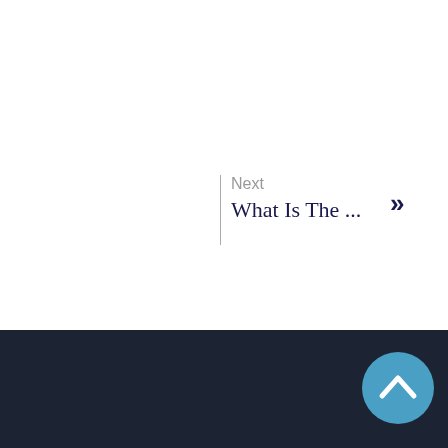Next
What Is The ...
[Figure (illustration): Scroll-to-top button: a blue circle with a white upward-pointing chevron arrow icon, located in the bottom-right corner over a dark navy footer area.]